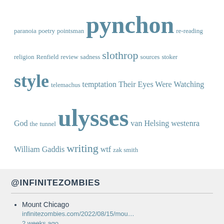paranoia poetry pointsman pynchon re-reading religion Renfield review sadness slothrop sources stoker style telemachus temptation Their Eyes Were Watching God the tunnel ulysses van Helsing westenra William Gaddis writing wtf zak smith
@INFINITEZOMBIES
Mount Chicago infinitezombies.com/2022/08/15/mou… 2 weeks ago
Want to learn more about some upcoming group read opportunities? Click here! infinitezombies.com/2022/01/08/mor…